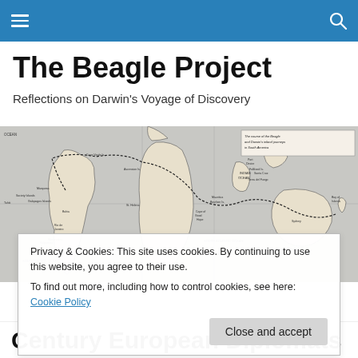The Beagle Project – navigation bar
The Beagle Project
Reflections on Darwin's Voyage of Discovery
[Figure (map): Historical map showing the course of the Beagle and Darwin's inland journeys in South America, including the South Pacific Ocean, South Atlantic Ocean, Indian Ocean, and locations such as Galapagos Islands, Cape Verde Is., Ascension Is., St. Helena, Mauritius, Bourbon Is., Cape of Good Hope, Sydney, Hobart, Society Islands, Tahiti, Bay of Islands, Falkland Is., Montevideo, Buenos Aires, Port Desire, Santa Cruz, Tierra del Fuego, Valparaiso, Rio de Janeiro, Bahia.]
Privacy & Cookies: This site uses cookies. By continuing to use this website, you agree to their use.
To find out more, including how to control cookies, see here: Cookie Policy
Century European Diplomats